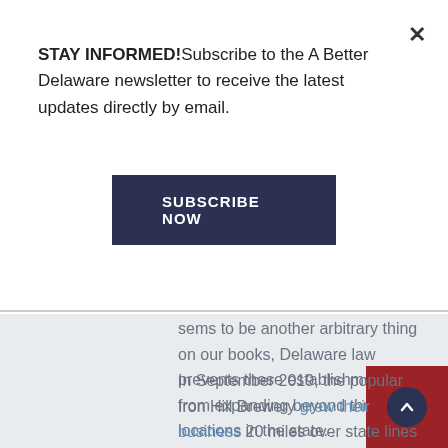STAY INFORMED! Subscribe to the A Better Delaware newsletter to receive the latest updates directly by email.
SUBSCRIBE NOW
sems to be another arbitrary thing on our books, Delaware law prevents these establishments from expanding beyond three locations in the state.
In September 2019, the popular Iron Hill Brewery grew their business 20 miles over state lines in Exton, PA